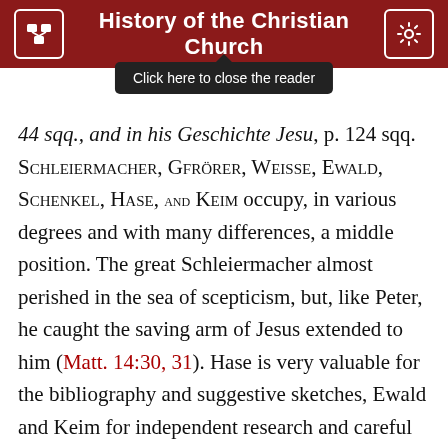History of the Christian Church
[Figure (screenshot): Tooltip overlay reading 'Click here to close the reader' with dark background]
44 sqq., and in his Geschichte Jesu, p. 124 sqq. Schleiermacher, Gfrörer, Weisse, Ewald, Schenkel, Hase, and Keim occupy, in various degrees and with many differences, a middle position. The great Schleiermacher almost perished in the sea of scepticism, but, like Peter, he caught the saving arm of Jesus extended to him (Matt. 14:30, 31). Hase is very valuable for the bibliography and suggestive sketches, Ewald and Keim for independent research and careful use of Josephus and the contemporary history. Keim rejects, Ewald accepts, the Gospel of John